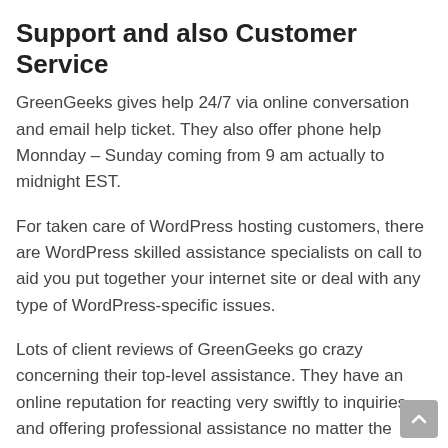Support and also Customer Service
GreenGeeks gives help 24/7 via online conversation and email help ticket. They also offer phone help Monnday – Sunday coming from 9 am actually to midnight EST.
For taken care of WordPress hosting customers, there are WordPress skilled assistance specialists on call to aid you put together your internet site or deal with any type of WordPress-specific issues.
Lots of client reviews of GreenGeeks go crazy concerning their top-level assistance. They have an online reputation for reacting very swiftly to inquiries and offering professional assistance no matter the problem.